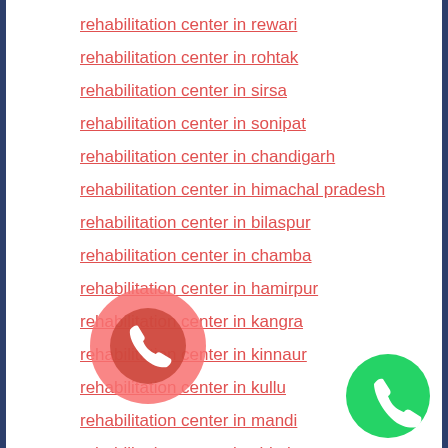rehabilitation center in rewari
rehabilitation center in rohtak
rehabilitation center in sirsa
rehabilitation center in sonipat
rehabilitation center in chandigarh
rehabilitation center in himachal pradesh
rehabilitation center in bilaspur
rehabilitation center in chamba
rehabilitation center in hamirpur
rehabilitation center in kangra
rehabilitation center in kinnaur
rehabilitation center in kullu
rehabilitation center in mandi
rehabilitation center in shimla
rehabilitation center in sirmaur